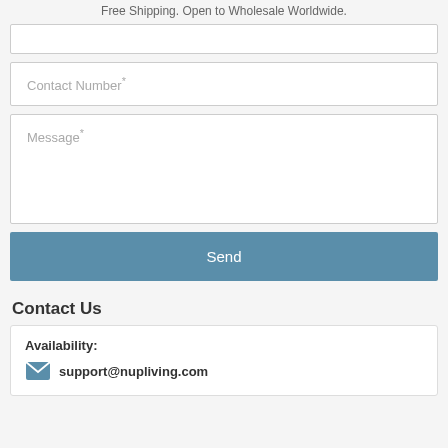Free Shipping. Open to Wholesale Worldwide.
Contact Number*
Message*
Send
Contact Us
Availability:
support@nupliving.com